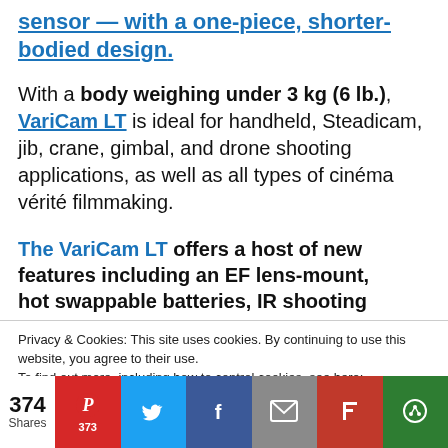sensor — with a one-piece, shorter-bodied design.
With a body weighing under 3 kg (6 lb.), VariCam LT is ideal for handheld, Steadicam, jib, crane, gimbal, and drone shooting applications, as well as all types of cinéma vérité filmmaking.
The VariCam LT offers a host of new features including an EF lens-mount, hot swappable batteries, IR shooting
Privacy & Cookies: This site uses cookies. By continuing to use this website, you agree to their use.
To find out more, including how to control cookies, see here:
Cookie Policy
374 Shares 373